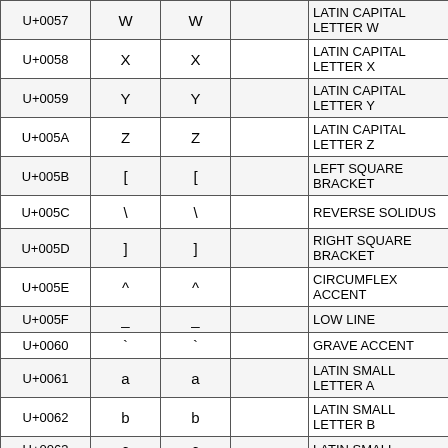| Code | Char | Char |  | Name |
| --- | --- | --- | --- | --- |
| U+0057 | W | W |  | LATIN CAPITAL LETTER W |
| U+0058 | X | X |  | LATIN CAPITAL LETTER X |
| U+0059 | Y | Y |  | LATIN CAPITAL LETTER Y |
| U+005A | Z | Z |  | LATIN CAPITAL LETTER Z |
| U+005B | [ | [ |  | LEFT SQUARE BRACKET |
| U+005C | \ | \ |  | REVERSE SOLIDUS |
| U+005D | ] | ] |  | RIGHT SQUARE BRACKET |
| U+005E | ^ | ^ |  | CIRCUMFLEX ACCENT |
| U+005F | _ | _ |  | LOW LINE |
| U+0060 | ` | ` |  | GRAVE ACCENT |
| U+0061 | a | a |  | LATIN SMALL LETTER A |
| U+0062 | b | b |  | LATIN SMALL LETTER B |
| U+0063 | c | c |  | LATIN SMALL LETTER |